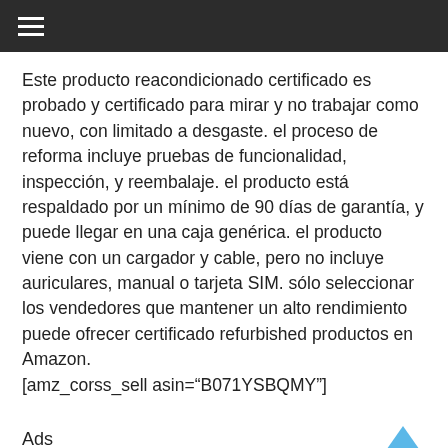≡
Este producto reacondicionado certificado es probado y certificado para mirar y no trabajar como nuevo, con limitado a desgaste. el proceso de reforma incluye pruebas de funcionalidad, inspección, y reembalaje. el producto está respaldado por un mínimo de 90 días de garantía, y puede llegar en una caja genérica. el producto viene con un cargador y cable, pero no incluye auriculares, manual o tarjeta SIM. sólo seleccionar los vendedores que mantener un alto rendimiento puede ofrecer certificado refurbished productos en Amazon.
[amz_corss_sell asin="B071YSBQMY"]
Ads
■